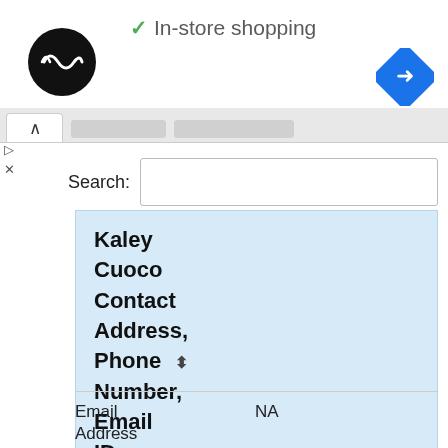[Figure (screenshot): Screenshot of a web interface showing in-store shopping indicator, logo, navigation, search bar, and a blue highlighted list with contact info fields.]
✓ In-store shopping
Search:
Kaley
Cuoco
Contact
Address, Phone ⬍ Number, Email ID, Website
Email Address  NA